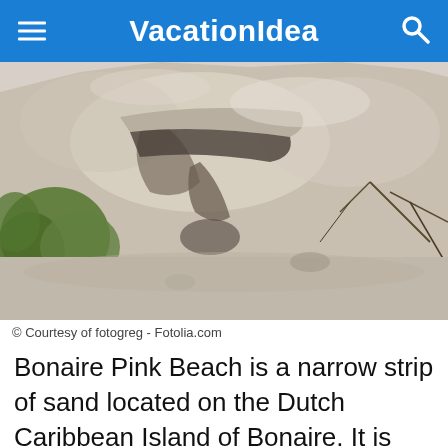VacationIdea
[Figure (photo): Rocky limestone cliff face with sparse green vegetation and shrubs in a bright outdoor setting]
© Courtesy of fotogreg - Fotolia.com
Bonaire Pink Beach is a narrow strip of sand located on the Dutch Caribbean Island of Bonaire. It is situated on the west coast of the island where the water is clear and the wind is